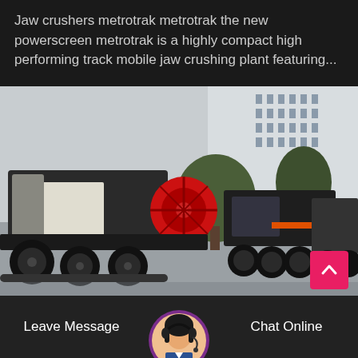Jaw crushers metrotrak metrotrak the new powerscreen metrotrak is a highly compact high performing track mobile jaw crushing plant featuring...
[Figure (photo): Photograph of multiple track-mounted mobile jaw crushing plants parked in a yard outside a building. The machines are large industrial equipment in black and white, with a prominent red flywheel visible on the nearest unit. Multiple units on tracks/wheels are lined up.]
Leave Message
[Figure (photo): Circular avatar photo of a customer service representative woman wearing a headset, with purple/dark border ring.]
Chat Online